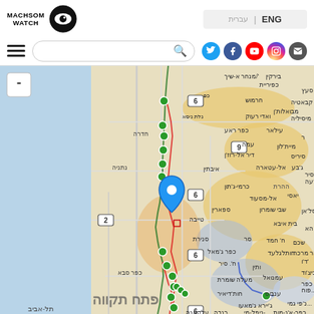[Figure (logo): MachsomWatch logo with eye icon and text MACHSOM WATCH]
ENG | עברית
[Figure (other): Navigation bar with hamburger menu, search box, and social media icons (Twitter, Facebook, YouTube, Instagram, Email)]
[Figure (map): Interactive map showing the West Bank separation barrier route with green dots marking checkpoints, red lines showing barrier route, blue areas, and yellow/orange areas marking Palestinian territories. Hebrew place names visible. Location pin placed near Qalqilya area. Map includes route 6, 9, 2 highway markers. Cities visible include Hadera, Netanya, Kfar Saba, Tel Aviv, Petah Tikva.]